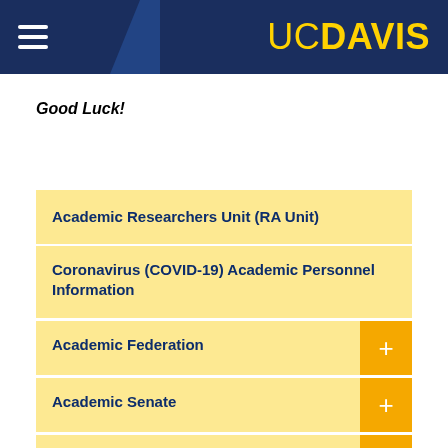UC DAVIS
Good Luck!
Academic Researchers Unit (RA Unit)
Coronavirus (COVID-19) Academic Personnel Information
Academic Federation
Academic Senate
Associate Professor Network